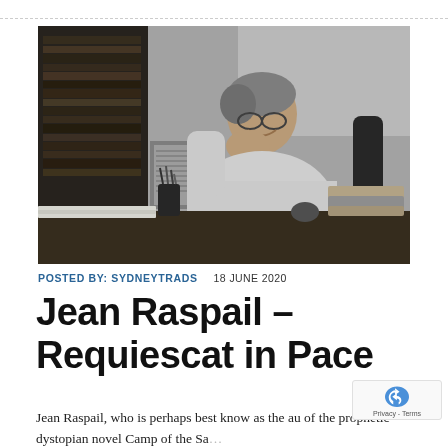[Figure (photo): Black and white photograph of Jean Raspail seated at a desk, smiling and resting his chin on one hand, wearing a light-colored sweater. Bookshelves visible in the background along with framed artwork on the wall.]
POSTED BY: SYDNEYTRADS   18 JUNE 2020
Jean Raspail – Requiescat in Pace
Jean Raspail, who is perhaps best know as the au of the prophetic dystopian novel Camp of the Sa...